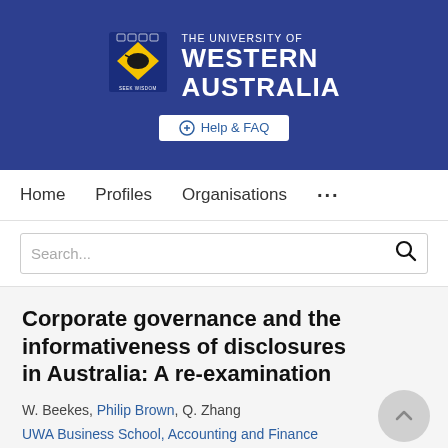[Figure (logo): University of Western Australia logo with crest and text 'THE UNIVERSITY OF WESTERN AUSTRALIA' on a blue banner background, with a Help & FAQ button below]
Home   Profiles   Organisations   ...
Search...
Corporate governance and the informativeness of disclosures in Australia: A re-examination
W. Beekes, Philip Brown, Q. Zhang
UWA Business School, Accounting and Finance